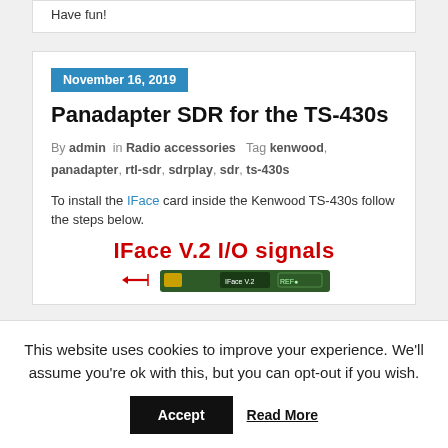Have fun!
November 16, 2019
Panadapter SDR for the TS-430s
By admin in Radio accessories Tag kenwood, panadapter, rtl-sdr, sdrplay, sdr, ts-430s
To install the IFace card inside the Kenwood TS-430s follow the steps below.
[Figure (photo): IFace V.2 I/O signals title and circuit board image]
This website uses cookies to improve your experience. We'll assume you're ok with this, but you can opt-out if you wish.
Accept   Read More